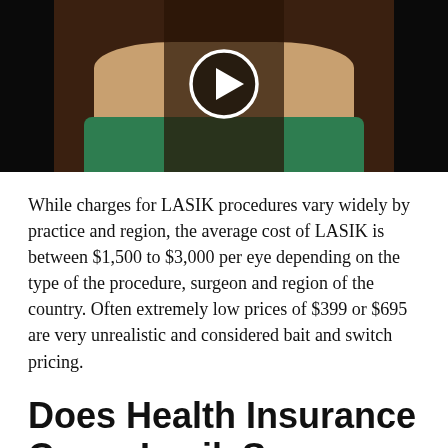[Figure (photo): Video thumbnail showing a woman with long brown hair wearing a green top, with a circular play button overlay on a dark background]
While charges for LASIK procedures vary widely by practice and region, the average cost of LASIK is between $1,500 to $3,000 per eye depending on the type of the procedure, surgeon and region of the country. Often extremely low prices of $399 or $695 are very unrealistic and considered bait and switch pricing.
Does Health Insurance Cover Lasik Surgery